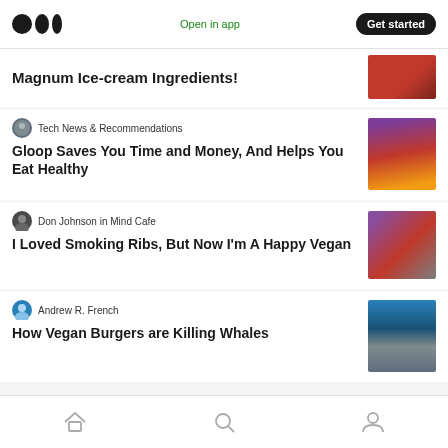Medium logo | Open in app | Get started
Magnum Ice-cream Ingredients!
Tech News & Recommendations
Gloop Saves You Time and Money, And Helps You Eat Healthy
Don Johnson in Mind Cafe
I Loved Smoking Ribs, But Now I'm A Happy Vegan
Andrew R. French
How Vegan Burgers are Killing Whales
Home | Search | Profile